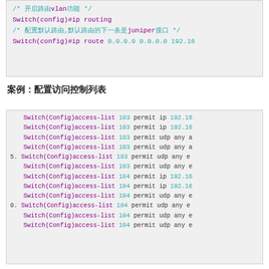[Figure (screenshot): Code block (top, clipped) showing Cisco switch IP routing and route configuration commands with comment about juniper]
案例：配置访问控制列表
[Figure (screenshot): Code block showing Switch(Config)access-list commands with list numbers 103 and 104, permitting ip and udp traffic, with line numbers 5 and 10]